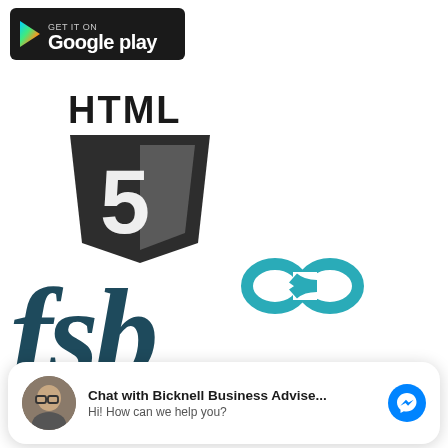[Figure (logo): Google Play store badge — black rounded rectangle with the Google Play triangle logo and text 'Google play']
[Figure (logo): HTML5 logo — dark shield with the number 5 and 'HTML' text above]
[Figure (logo): FSB logo — large lowercase 'fsb' text in dark teal with an infinity/loop symbol in teal above]
[Figure (screenshot): Chat widget — white rounded rectangle showing avatar of a man with glasses, bold text 'Chat with Bicknell Business Advise...' and subtitle 'Hi! How can we help you?' with a Facebook Messenger icon on the right]